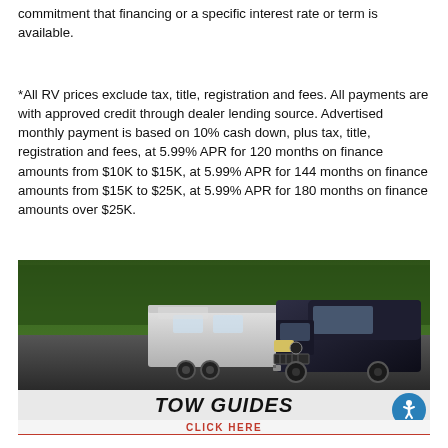commitment that financing or a specific interest rate or term is available.
*All RV prices exclude tax, title, registration and fees. All payments are with approved credit through dealer lending source. Advertised monthly payment is based on 10% cash down, plus tax, title, registration and fees, at 5.99% APR for 120 months on finance amounts from $10K to $15K, at 5.99% APR for 144 months on finance amounts from $15K to $25K, at 5.99% APR for 180 months on finance amounts over $25K.
[Figure (photo): A dark pickup truck towing a white RV trailer on a road surrounded by trees, with a 'TOW GUIDES / CLICK HERE' promotional banner overlay at the bottom.]